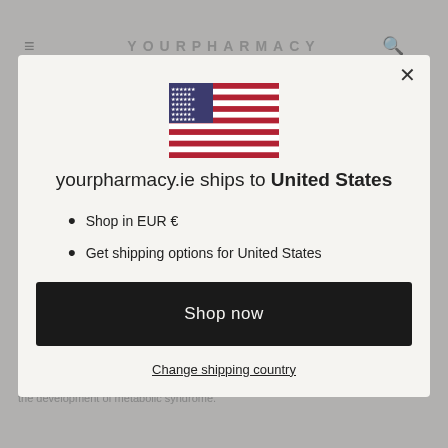YOURPHARMACY
Western diet...
Childhood Obesity and Diet...
Obesity is a growing problem in children and adolescents, and is often accompanied by metabolic syndrome (MS). Metabolic syndrome is a cluster of several metabolic abnormalities, including central obesity, insulin resistance, high triglycerides and low HDL (high-density lipoprotein) levels, and is directly linked to poor dietary choices and sedentary lifestyles developing in diet...
[Figure (infographic): Modal popup overlay on pharmacy website showing US flag and shipping options. Contains: US flag SVG, text 'yourpharmacy.ie ships to United States', bullet list with 'Shop in EUR €' and 'Get shipping options for United States', a black 'Shop now' button, and a 'Change shipping country' underlined link.]
the development of metabolic syndrome.